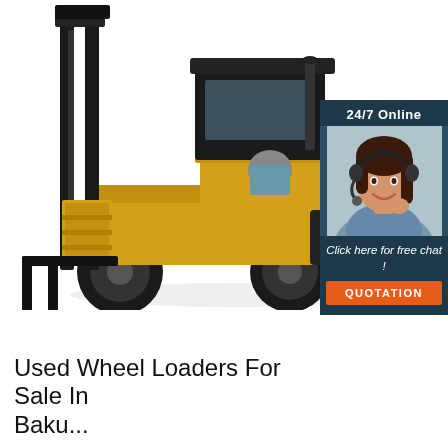[Figure (photo): A yellow and black forklift with forks lowered, photographed on white background. Overlaid in the top-right corner is a customer support badge showing '24/7 Online', a woman with a headset smiling, text 'Click here for free chat!', and an orange 'QUOTATION' button on a dark navy background.]
Used Wheel Loaders For Sale In Baku...